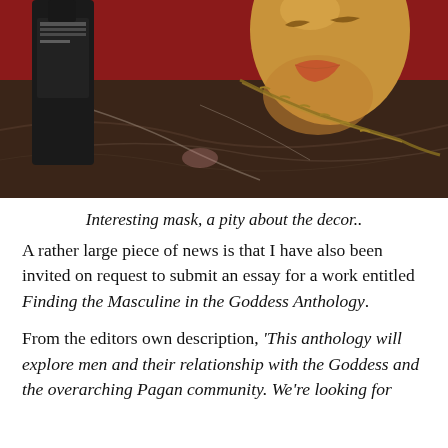[Figure (photo): A gold theatrical mask with red lips and a chain necklace resting on a dark marble surface, with a dark bottle partially visible on the left, against a red background.]
Interesting mask, a pity about the decor..
A rather large piece of news is that I have also been invited on request to submit an essay for a work entitled Finding the Masculine in the Goddess Anthology.
From the editors own description, ‘This anthology will explore men and their relationship with the Goddess and the overarching Pagan community. We’re looking for